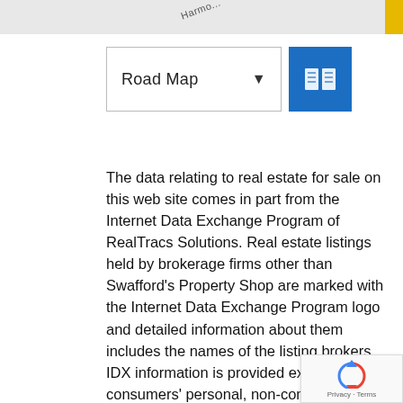[Figure (map): Partial map strip at top with road label 'Harmo...' and yellow corner element]
[Figure (screenshot): Road Map dropdown button with chevron and blue map icon button]
The data relating to real estate for sale on this web site comes in part from the Internet Data Exchange Program of RealTracs Solutions. Real estate listings held by brokerage firms other than Swafford's Property Shop are marked with the Internet Data Exchange Program logo and detailed information about them includes the names of the listing brokers. IDX information is provided exclusively for consumers' personal, non-commercial use and may not be used for any purpose other than to identify prospective properties
[Figure (logo): reCAPTCHA badge with circular arrows logo and 'Privacy · Terms' text]